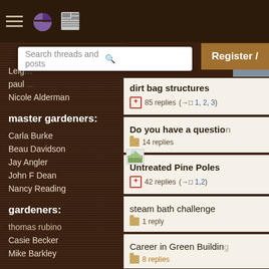Navigation bar with hamburger menu, logo icons
Search threads and posts
Register /
Leig
paul
Nicole Alderman
master gardeners:
Carla Burke
Beau Davidson
Jay Angler
John F Dean
Nancy Reading
gardeners:
thomas rubino
Casie Becker
Mike Barkley
dirt bag structures
85 replies  [→□ 1, 2, 3]
Do you have a question
14 replies
Untreated Pine Poles
42 replies  [→□ 1,2]
steam bath challenge
1 reply
Career in Green Building
8 replies